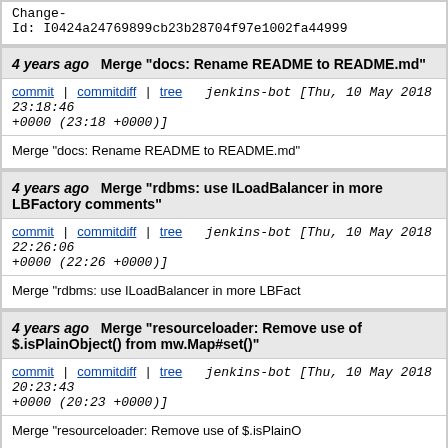Change-Id: I0424a24769899cb23b28704f97e1002fa44999
4 years ago   Merge "docs: Rename README to README.md"
commit | commitdiff | tree   jenkins-bot [Thu, 10 May 2018 23:18:46 +0000 (23:18 +0000)]
Merge "docs: Rename README to README.md"
4 years ago   Merge "rdbms: use ILoadBalancer in more LBFactory comments"
commit | commitdiff | tree   jenkins-bot [Thu, 10 May 2018 22:26:06 +0000 (22:26 +0000)]
Merge "rdbms: use ILoadBalancer in more LBFact
4 years ago   Merge "resourceloader: Remove use of $.isPlainObject() from mw.Map#set()"
commit | commitdiff | tree   jenkins-bot [Thu, 10 May 2018 20:23:43 +0000 (20:23 +0000)]
Merge "resourceloader: Remove use of $.isPlainO
4 years ago   resourceloader: Remove use of